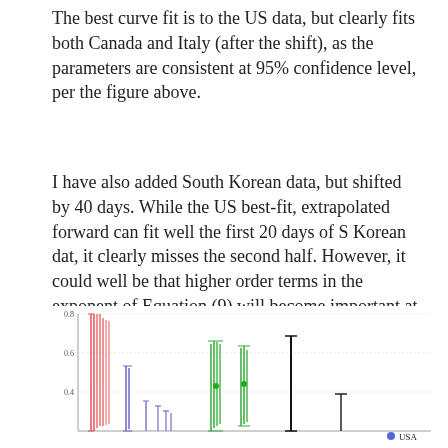The best curve fit is to the US data, but clearly fits both Canada and Italy (after the shift), as the parameters are consistent at 95% confidence level, per the figure above.
I have also added South Korean data, but shifted by 40 days. While the US best-fit, extrapolated forward can fit well the first 20 days of S Korean dat, it clearly misses the second half. However, it could well be that higher order terms in the exponent of Equation (9) will become important at this point.
[Figure (continuous-plot): Partial chart visible at bottom of page showing error bars/intervals for multiple countries (USA labeled in legend with blue dot). Y-axis shows values from approximately 0 to 0.8. Multiple colored vertical error bar clusters visible: red/pink cluster on left, blue/purple cluster, green clusters in middle, and a tall black vertical bar. Legend shows USA with blue dot.]